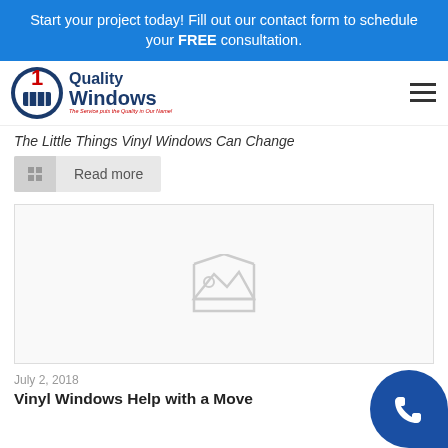Start your project today! Fill out our contact form to schedule your FREE consultation.
[Figure (logo): Quality Windows logo with navy blue oval badge and company name]
The Little Things Vinyl Windows Can Change
Read more
[Figure (photo): Placeholder image for blog post]
July 2, 2018
Vinyl Windows Help with a Move